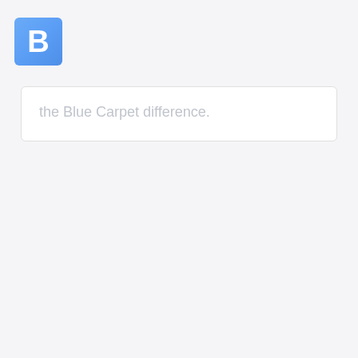[Figure (logo): Blue Carpet logo: a blue square with a white bold letter B]
the Blue Carpet difference.